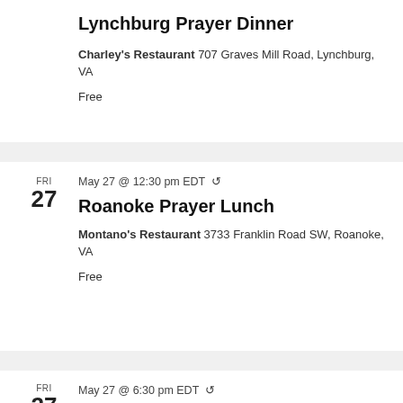Lynchburg Prayer Dinner
Charley's Restaurant 707 Graves Mill Road, Lynchburg, VA
Free
FRI 27
May 27 @ 12:30 pm EDT
Roanoke Prayer Lunch
Montano's Restaurant 3733 Franklin Road SW, Roanoke, VA
Free
FRI 27
May 27 @ 6:30 pm EDT
Hagerstown Prayer Dinner
Hampton Inn Hagerstown 18300 Peak Circle, Hagerstown, MD